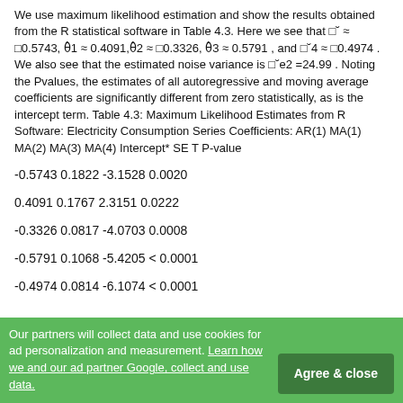We use maximum likelihood estimation and show the results obtained from the R statistical software in Table 4.3. Here we see that φ̂ ≈ −0.5743, θ̂1 ≈ 0.4091, θ̂2 ≈ −0.3326, θ̂3 ≈ 0.5791, and θ̂4 ≈ −0.4974 . We also see that the estimated noise variance is σ̂e2 =24.99 . Noting the Pvalues, the estimates of all autoregressive and moving average coefficients are significantly different from zero statistically, as is the intercept term. Table 4.3: Maximum Likelihood Estimates from R Software: Electricity Consumption Series Coefficients: AR(1) MA(1) MA(2) MA(3) MA(4) Intercept* SE T P-value
| Coefficient | SE | T | P-value |
| --- | --- | --- | --- |
| -0.5743 | 0.1822 | -3.1528 | 0.0020 |
| 0.4091 | 0.1767 | 2.3151 | 0.0222 |
| -0.3326 | 0.0817 | -4.0703 | 0.0008 |
| -0.5791 | 0.1068 | -5.4205 | < 0.0001 |
| -0.4974 | 0.0814 | -6.1074 | < 0.0001 |
Our partners will collect data and use cookies for ad personalization and measurement. Learn how we and our ad partner Google, collect and use data.